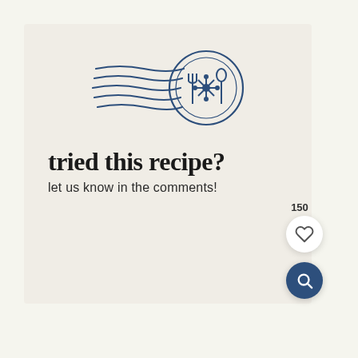[Figure (logo): Postmark-style logo with wavy lines and a circular stamp containing crossed fork, flower and spoon icons in navy blue]
tried this recipe?
let us know in the comments!
150